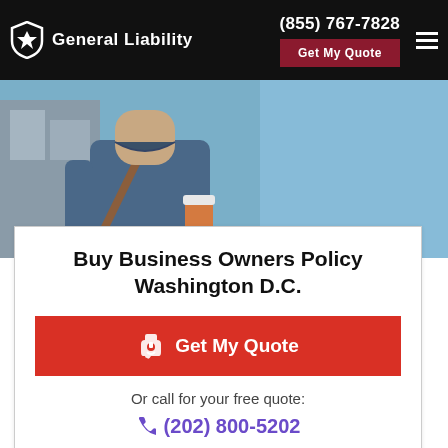General Liability | (855) 767-7828 | Get My Quote
[Figure (photo): Man in blue jacket carrying a bag and holding a coffee cup, walking in an urban setting with blue sky background]
Buy Business Owners Policy Washington D.C.
Get My Quote
Or call for your free quote:
(202) 800-5202
Get the best DC small business insurance quotes